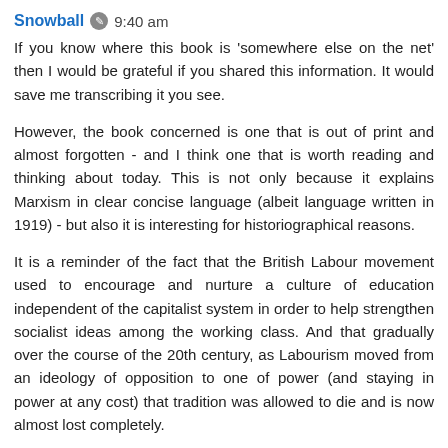Snowball  9:40 am
If you know where this book is 'somewhere else on the net' then I would be grateful if you shared this information. It would save me transcribing it you see.
However, the book concerned is one that is out of print and almost forgotten - and I think one that is worth reading and thinking about today. This is not only because it explains Marxism in clear concise language (albeit language written in 1919) - but also it is interesting for historiographical reasons.
It is a reminder of the fact that the British Labour movement used to encourage and nurture a culture of education independent of the capitalist system in order to help strengthen socialist ideas among the working class. And that gradually over the course of the 20th century, as Labourism moved from an ideology of opposition to one of power (and staying in power at any cost) that tradition was allowed to die and is now almost lost completely.
Reply